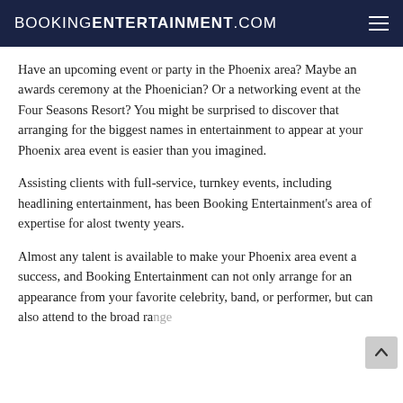BOOKINGENTERTAINMENT.COM
Have an upcoming event or party in the Phoenix area? Maybe an awards ceremony at the Phoenician? Or a networking event at the Four Seasons Resort? You might be surprised to discover that arranging for the biggest names in entertainment to appear at your Phoenix area event is easier than you imagined.
Assisting clients with full-service, turnkey events, including headlining entertainment, has been Booking Entertainment's area of expertise for alost twenty years.
Almost any talent is available to make your Phoenix area event a success, and Booking Entertainment can not only arrange for an appearance from your favorite celebrity, band, or performer, but can also attend to the broad range of logistical concerns that are key factors for delivering